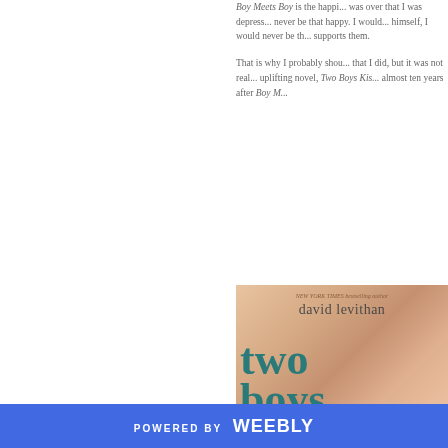Boy Meets Boy is the happi... was over that I was depress... never be that happy. I would... himself, I would never be th... supports them.
That is why I probably shou... that I did, but it was not real... uplifting novel, Two Boys Kis... almost ten years after Boy M...
[Figure (photo): Book cover of 'Two Boys Kissing' by David Levithan. Cover shows two boys close together with teal/teal colored large text reading 'two boys kissing' over a warm-toned photographic background. Author name 'david levithan' appears at top with 'NEW YORK TIMES bestselling author' above it.]
POWERED BY weebly